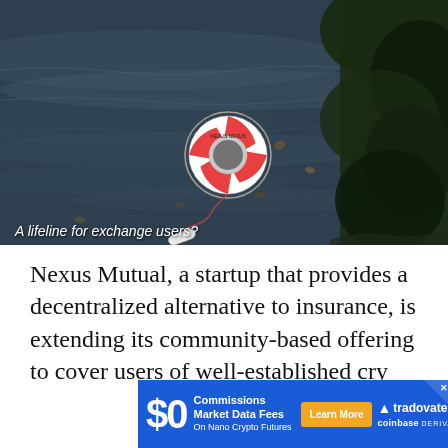[Figure (photo): A life preserver ring (life buoy) floating on dark water near a shoreline with autumn leaves. The ring is orange and white, with a rope attached to a white handle floating nearby.]
A lifeline for exchange users?
Nexus Mutual, a startup that provides a decentralized alternative to insurance, is extending its community-based offering to cover users of well-established cry
[Figure (other): Advertisement banner for Tradovate on Coinbase Derivatives. Shows $0 Commissions, Market Data Fees on Nano Crypto Futures with a Learn More button.]